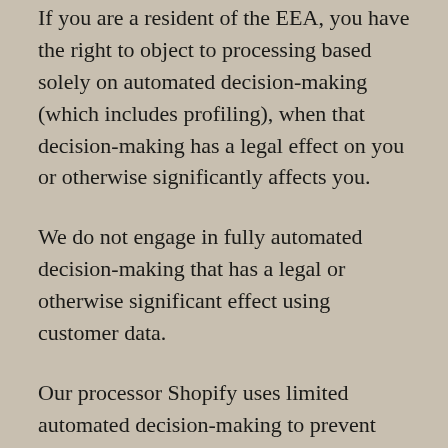If you are a resident of the EEA, you have the right to object to processing based solely on automated decision-making (which includes profiling), when that decision-making has a legal effect on you or otherwise significantly affects you.
We do not engage in fully automated decision-making that has a legal or otherwise significant effect using customer data.
Our processor Shopify uses limited automated decision-making to prevent fraud that does not have a legal or otherwise significant effect on you.
Services that include elements of automated